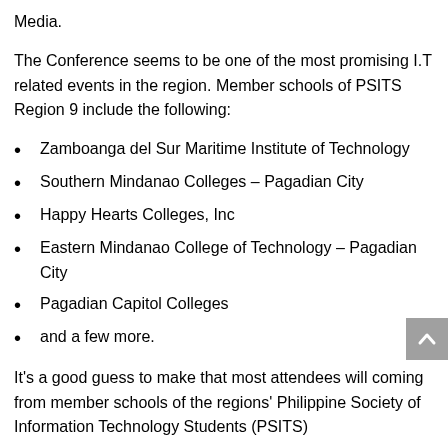Media.
The Conference seems to be one of the most promising I.T related events in the region. Member schools of PSITS Region 9 include the following:
Zamboanga del Sur Maritime Institute of Technology
Southern Mindanao Colleges – Pagadian City
Happy Hearts Colleges, Inc
Eastern Mindanao College of Technology – Pagadian City
Pagadian Capitol Colleges
and a few more.
It's a good guess to make that most attendees will coming from member schools of the regions' Philippine Society of Information Technology Students (PSITS)